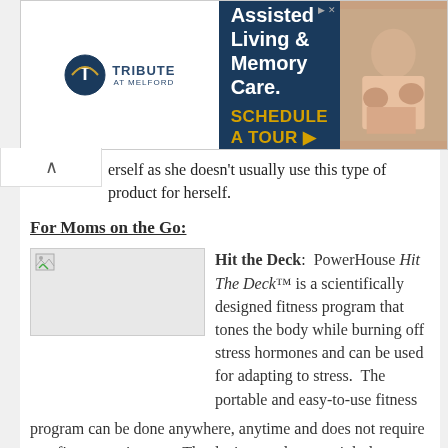[Figure (screenshot): Advertisement banner for Tribute at Melford Assisted Living & Memory Care with 'Schedule a Tour' call to action]
erself as she doesn't usually use this type of product for herself.
For Moms on the Go:
[Figure (photo): Broken image placeholder for product photo]
Hit the Deck: PowerHouse Hit The Deck™ is a scientifically designed fitness program that tones the body while burning off stress hormones and can be used for adapting to stress. The portable and easy-to-use fitness program can be done anywhere, anytime and does not require any fitness equipment. The device condones weight loss, improves sleep and energy and facilities in stress management. PowerHouse Hit The Deck™ provides the appropriate intensity for the results desired whether new to exercising or advanced. For more information